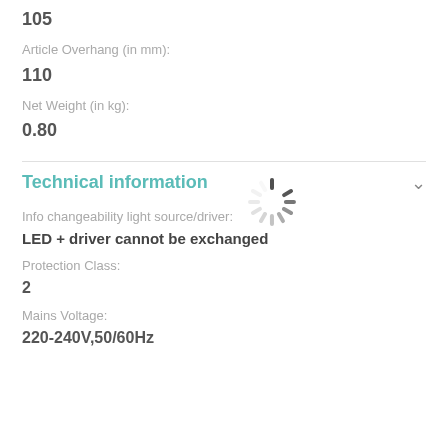105
Article Overhang (in mm):
110
Net Weight (in kg):
0.80
Technical information
[Figure (other): Loading spinner (animated wheel icon)]
Info changeability light source/driver:
LED + driver cannot be exchanged
Protection Class:
2
Mains Voltage:
220-240V,50/60Hz